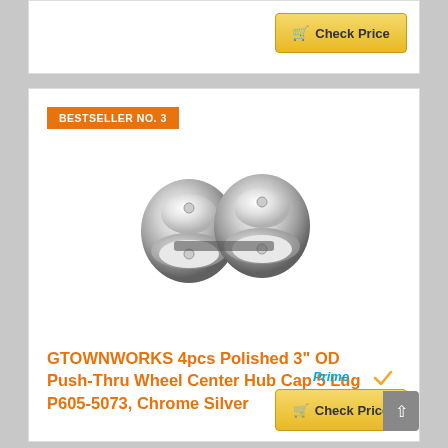[Figure (screenshot): Partial top card with a Check Price button (gold/yellow) visible at the top of the page]
BESTSELLER NO. 3
[Figure (photo): Four chrome silver push-thru wheel center hub caps arranged in a 2x2 grid, polished silver finish with small center holes]
GTOWNWORKS 4pcs Polished 3" OD Push-Thru Wheel Center Hub Cap 5 Lug P605-5073, Chrome Silver
[Figure (logo): Amazon Prime logo - checkmark in orange with 'Prime' in blue italic text]
Check Price